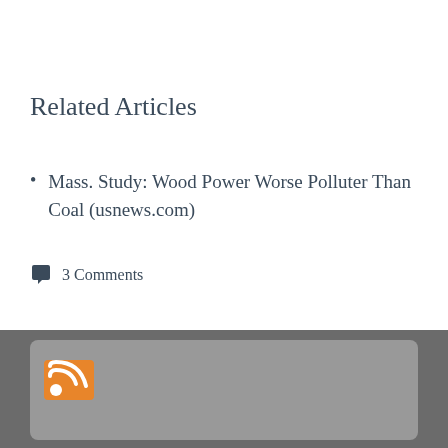Related Articles
Mass. Study: Wood Power Worse Polluter Than Coal (usnews.com)
3 Comments
[Figure (other): Grey footer section with rounded grey box containing an orange RSS/blog icon]